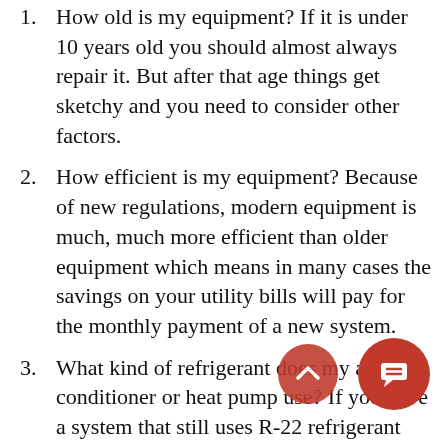How old is my equipment? If it is under 10 years old you should almost always repair it. But after that age things get sketchy and you need to consider other factors.
How efficient is my equipment? Because of new regulations, modern equipment is much, much more efficient than older equipment which means in many cases the savings on your utility bills will pay for the monthly payment of a new system.
What kind of refrigerant does my air conditioner or heat pump use? If you have a system that still uses R-22 refrigerant any needed future repairs are going to be expensive as the government has phased out that refrigerant and every year the price gets even more expensive. It’s probably time to upgrade.
If my current system is broken, how much is the repair going to cost? If you have an expensive...